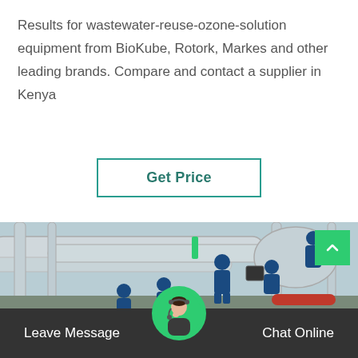Results for wastewater-reuse-ozone-solution equipment from BioKube, Rotork, Markes and other leading brands. Compare and contact a supplier in Kenya
[Figure (other): A green-bordered 'Get Price' button]
[Figure (photo): Workers in blue coveralls and hard hats working on large industrial pipes and equipment at an outdoor facility]
Leave Message
Chat Online